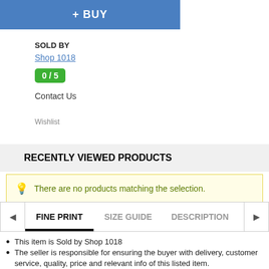+ BUY
SOLD BY
Shop 1018
0 / 5
Contact Us
Wishlist
RECENTLY VIEWED PRODUCTS
There are no products matching the selection.
FINE PRINT   SIZE GUIDE   DESCRIPTION
This item is Sold by Shop 1018
The seller is responsible for ensuring the buyer with delivery, customer service, quality, price and relevant info of this listed item.
This product is New
Product eligible for free returns within 14 days